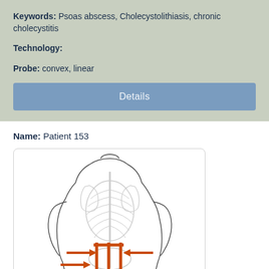Keywords: Psoas abscess, Cholecystolithiasis, chronic cholecystitis
Technology:
Probe: convex, linear
[Figure (illustration): A blue button labeled 'Details']
Name: Patient 153
[Figure (illustration): A human body diagram showing the back view with skeletal structure visible, and orange arrows/lines indicating probe placement positions on the lower back/lumbar region.]